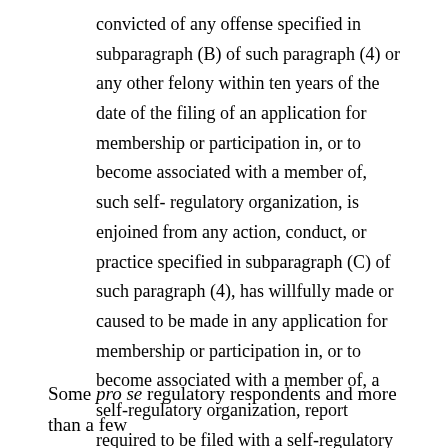convicted of any offense specified in subparagraph (B) of such paragraph (4) or any other felony within ten years of the date of the filing of an application for membership or participation in, or to become associated with a member of, such self- regulatory organization, is enjoined from any action, conduct, or practice specified in subparagraph (C) of such paragraph (4), has willfully made or caused to be made in any application for membership or participation in, or to become associated with a member of, a self-regulatory organization, report required to be filed with a self-regulatory organization, or proceeding before a self-regulatory organization, any statement which was at the time, and in the light of the circumstances under which it was made, false or misleading with respect to any material fact, or has omitted to state in any such application, report, or proceeding any material fact which is required to be stated therein.
Some pro se regulatory respondents and more than a few